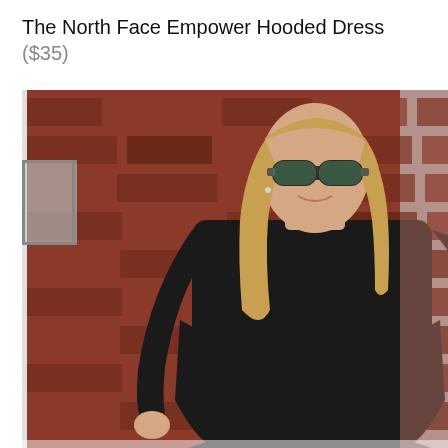The North Face Empower Hooded Dress ($35)
[Figure (photo): A woman wearing a black long-sleeve North Face Empower Hooded Dress and mirrored sunglasses, smiling and leaning against a white door frame with a red brick wall in the background.]